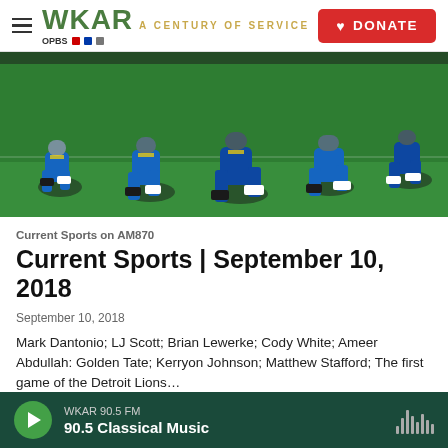WKAR A CENTURY OF SERVICE | DONATE
[Figure (photo): Football players in blue and gold uniforms in a crouched/running stance on a green field during an NFL game]
Current Sports on AM870
Current Sports | September 10, 2018
September 10, 2018
Mark Dantonio; LJ Scott; Brian Lewerke; Cody White; Ameer Abdullah: Golden Tate; Kerryon Johnson; Matthew Stafford; The first game of the Detroit Lions…
WKAR 90.5 FM | 90.5 Classical Music